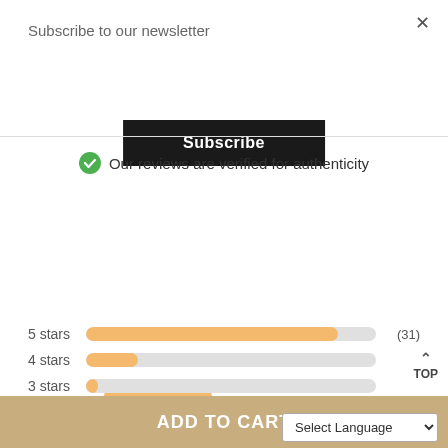Subscribe to our newsletter
Subscribe
Our reviews are verified for authenticity
[Figure (infographic): 4.8 out of 5 rating block in orange, with 4.5 orange stars and '37 reviews' label]
[Figure (bar-chart): Star rating distribution]
ADD TO CART